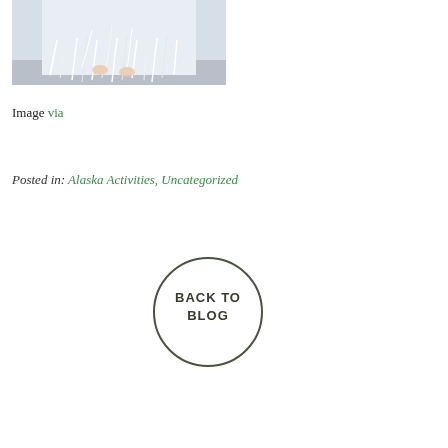[Figure (photo): A person wearing a white flowing garment with long fringe or ribbon-like strips, standing on a concrete surface, bare feet visible beneath the fabric.]
Image via
Posted in: Alaska Activities, Uncategorized
[Figure (other): A circular button with text BACK TO BLOG inside, outlined with a dark olive/green circle border.]